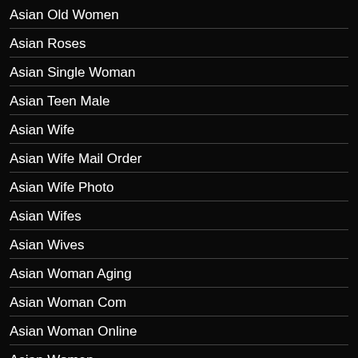Asian Old Women
Asian Roses
Asian Single Woman
Asian Teen Male
Asian Wife
Asian Wife Mail Order
Asian Wife Photo
Asian Wifes
Asian Wives
Asian Woman Aging
Asian Woman Com
Asian Woman Online
Asian Women